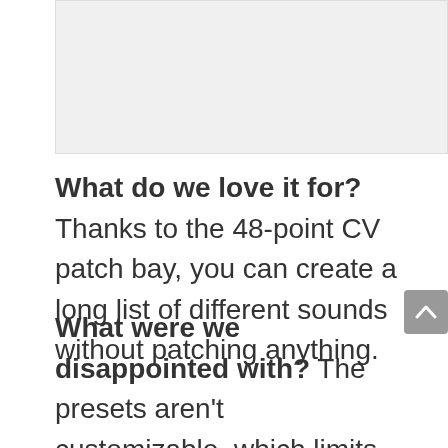[Figure (photo): Image placeholder area at top of page]
What do we love it for? Thanks to the 48-point CV patch bay, you can create a long list of different sounds without patching anything.
What were we disappointed with? The presets aren't customizable, which limits your freedom when creating the desired sounds.